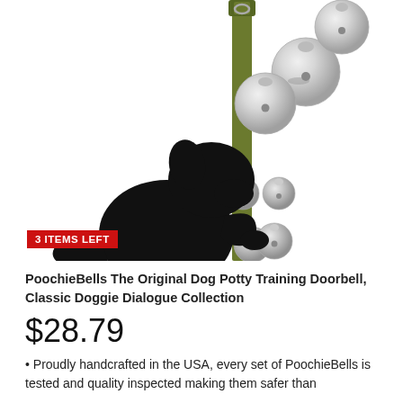[Figure (photo): Product photo of PoochieBells dog potty training doorbell — a green leather strap with silver jingle bells hanging at top and bottom, with a black dog silhouette pawing at the strap. A red badge reads '3 ITEMS LEFT'.]
PoochieBells The Original Dog Potty Training Doorbell, Classic Doggie Dialogue Collection
$28.79
Proudly handcrafted in the USA, every set of PoochieBells is tested and quality inspected making them safer than